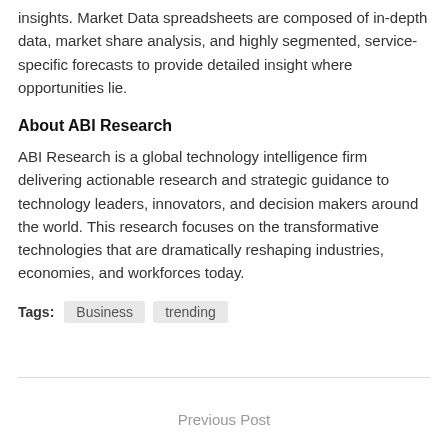insights. Market Data spreadsheets are composed of in-depth data, market share analysis, and highly segmented, service-specific forecasts to provide detailed insight where opportunities lie.
About ABI Research
ABI Research is a global technology intelligence firm delivering actionable research and strategic guidance to technology leaders, innovators, and decision makers around the world. This research focuses on the transformative technologies that are dramatically reshaping industries, economies, and workforces today.
Tags:  Business  trending
Previous Post